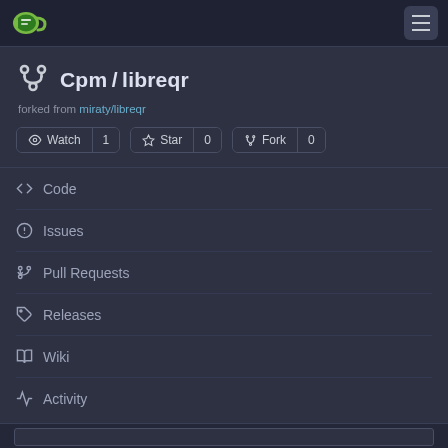[Figure (logo): Gitea logo - green tag icon in top left navbar]
[Figure (other): Hamburger menu icon (three horizontal lines) in top right navbar]
Cpm / libreqr
forked from miraty/libreqr
Watch 1   Star 0   Fork 0
Code
Issues
Pull Requests
Releases
Wiki
Activity